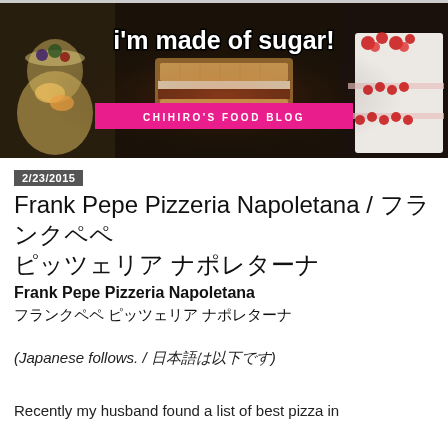[Figure (illustration): Food blog banner with dark background showing desserts and food items. Text reads 'i'm made of sugar!' in white curved font with 'CHIHIRO'S FOOD BLOG' on a pink/magenta banner ribbon in the center.]
2/23/2015
Frank Pepe Pizzeria Napoletana / フランクペペ ピッツェリア ナポレターナ
Frank Pepe Pizzeria Napoletana
フランクペペ ピッツェリア ナポレターナ
(Japanese follows. / 日本語は以下です)
Recently my husband found a list of best pizza in